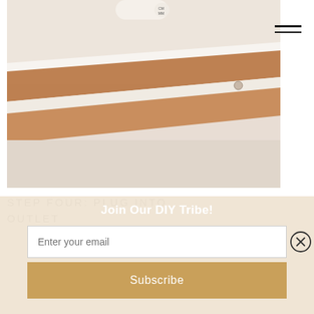[Figure (photo): Close-up photograph of a tape measure and wooden pencil or tool on a white surface, with warm wood tones and white background.]
STEP FOUR: PLUG INTO OUTLET
Join Our DIY Tribe!
Enter your email
Subscribe